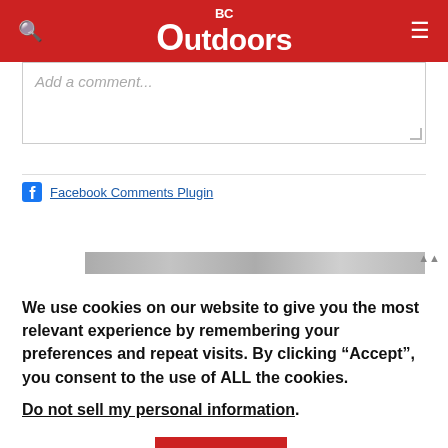BC Outdoors
Add a comment...
Facebook Comments Plugin
We use cookies on our website to give you the most relevant experience by remembering your preferences and repeat visits. By clicking “Accept”, you consent to the use of ALL the cookies.
Do not sell my personal information.
Cookie settings  ACCEPT